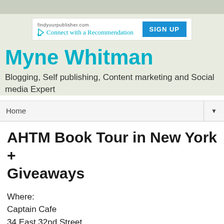[Figure (screenshot): Advertisement banner for findyourpublisher.com with 'Connect with a Recommendation' text and a blue SIGN UP button]
Myne Whitman
Blogging, Self publishing, Content marketing and Social media Expert
Home
AHTM Book Tour in New York + Giveaways
Where:
Captain Cafe
34 East 32nd Street,
New York, NY 10016-5503
(212) 779-0003